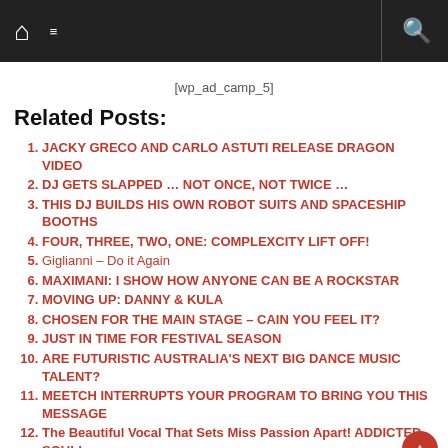Navigation bar with home, menu, and search icons
[wp_ad_camp_5]
Related Posts:
JACKY GRECO AND CARLO ASTUTI RELEASE DRAGON VIDEO
DJ GETS SLAPPED … NOT ONCE, NOT TWICE …
THIS DJ BUILDS HIS OWN ROBOT SUITS AND SPACESHIP BOOTHS
FOUR, THREE, TWO, ONE: COMPLEXCITY LIFT OFF!
Giglianni – Do it Again
MAXIMANI: I SHOW HOW ANYONE CAN BE A ROCKSTAR
MOVING UP: DANNY & KULA
CHOSEN FOR THE MAIN STAGE – CAIN YOU FEEL IT?
JUST IN TIME FOR FESTIVAL SEASON
ARE FUTURISTIC AUSTRALIA'S NEXT BIG DANCE MUSIC TALENT?
MEETCH INTERRUPTS YOUR PROGRAM TO BRING YOU THIS MESSAGE
The Beautiful Vocal That Sets Miss Passion Apart! ADDICTED SOUL!